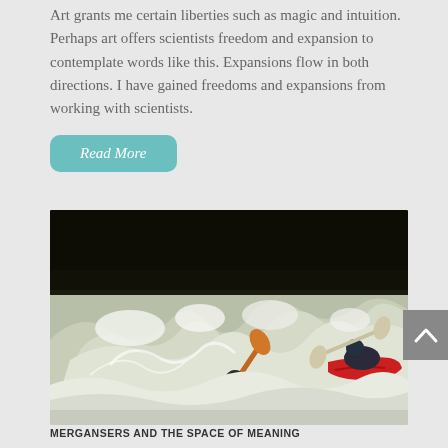Art grants me certain liberties such as magic and intuition. Perhaps art offers scientists freedom and expansion to contemplate words like this. Expansions flow in both directions. I have gained freedoms and expansions from working with scientists.
Read More
[Figure (photo): Whitewater kayakers navigating turbulent rapids; one kayaker is nearly submerged in churning white water while another paddles a red kayak in the background]
MERGANSERS AND THE SPACE OF MEANING